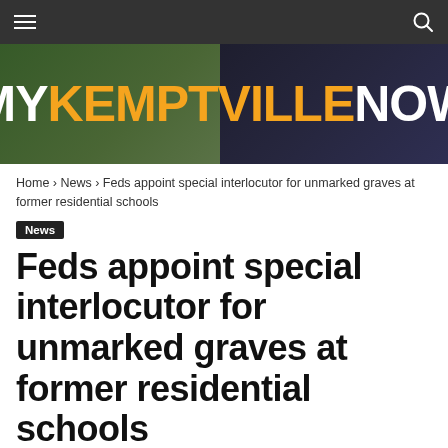MyKemptvilleNow navigation bar
[Figure (logo): MyKemptvilleNow website banner logo on dark photographic background. 'MY' and 'NOW' in white bold text, 'KEMPTVILLE' in orange bold text.]
Home › News › Feds appoint special interlocutor for unmarked graves at former residential schools
News
Feds appoint special interlocutor for unmarked graves at former residential schools
By Mohamed Fahim Wednesday, Jun. 8th, 2022